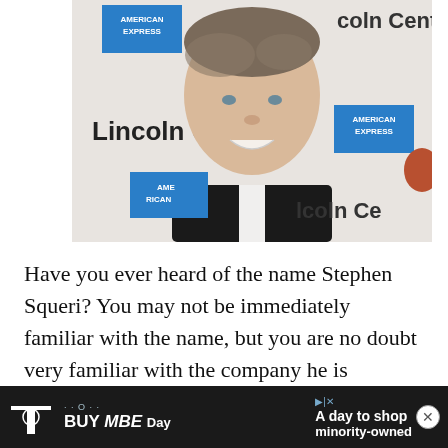[Figure (photo): A man in a suit smiling at the camera at a Lincoln Center / American Express event. The step-and-repeat backdrop shows 'Lincoln Center' and 'American Express' logos.]
Have you ever heard of the name Stephen Squeri? You may not be immediately familiar with the name, but you are no doubt very familiar with the company he is President and Chief Exe...
[Figure (infographic): T-Mobile advertisement: T logo, Buy MBE Day, A day to shop minority-owned. With a close (x) button.]